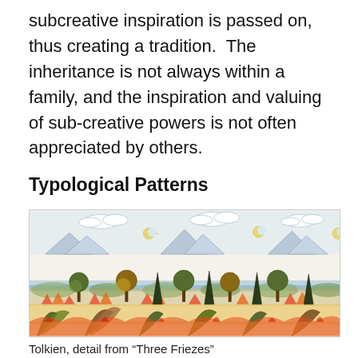subcreative inspiration is passed on, thus creating a tradition.  The inheritance is not always within a family, and the inspiration and valuing of sub-creative powers is not often appreciated by others.
Typological Patterns
[Figure (illustration): Tolkien's detail from 'Three Friezes' — a decorative horizontal band showing repeating landscape elements: mountains, stylized trees, clouds, crescent moons, and flame-like foliage in watercolor style.]
Tolkien, detail from "Three Friezes"